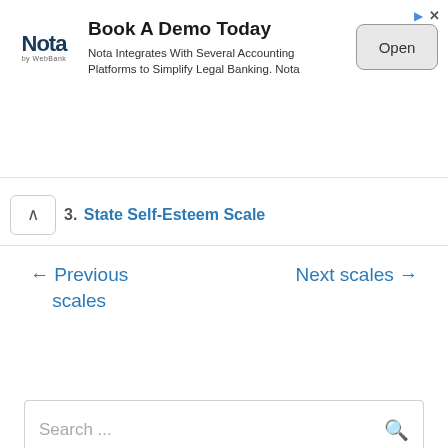[Figure (other): Advertisement banner for Nota by WebBank. Title: 'Book A Demo Today'. Description: 'Nota Integrates With Several Accounting Platforms to Simplify Legal Banking. Nota'. Contains Nota logo and an 'Open' button.]
3. State Self-Esteem Scale
← Previous scales
Next scales →
Search ...